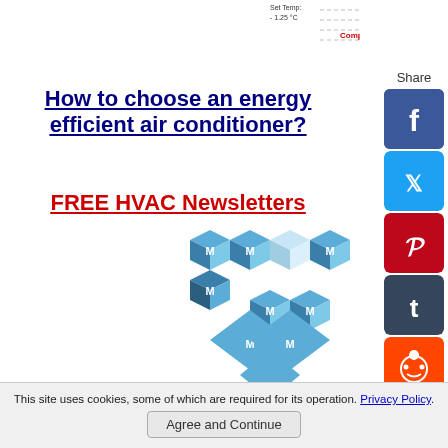[Figure (screenshot): Partial view of a temperature chart showing 'Set Temp: - 1.25 °C' label and 'Compressor OFF' text in red on a graph with dashed lines]
How to choose an energy efficient air conditioner?
FREE HVAC Newsletters
[Figure (logo): HVAC newsletter logo with blue 3D cube pattern with letter M repeated in a grid pattern]
[Figure (infographic): Social media share sidebar with Facebook, Twitter, Pinterest, Tumblr, Reddit, WhatsApp, and Messenger icons]
This site uses cookies, some of which are required for its operation. Privacy Policy.